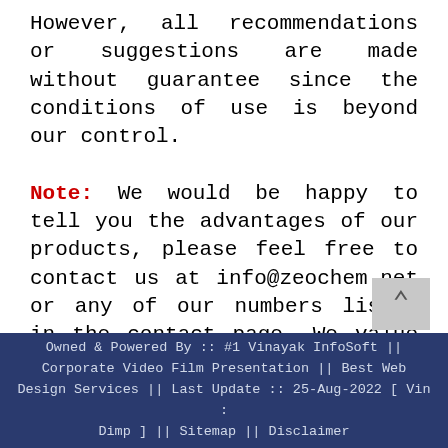However, all recommendations or suggestions are made without guarantee since the conditions of use is beyond our control.
Note: We would be happy to tell you the advantages of our products, please feel free to contact us at info@zeochem.net or any of our numbers listed in the contact page. We value and respect all customers' needs and demands.
Owned & Powered By :: #1 Vinayak InfoSoft || Corporate Video Film Presentation || Best Web Design Services || Last Update :: 25-Aug-2022 [ Vin : Dimp ] || Sitemap || Disclaimer